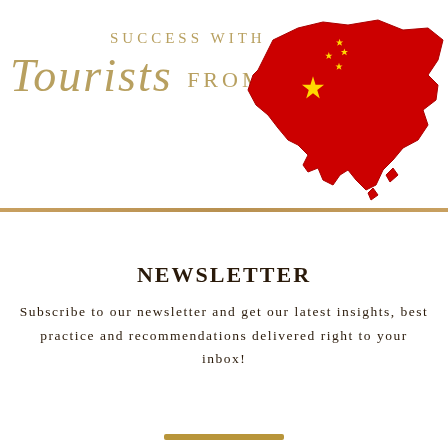SUCCESS WITH TOURISTS FROM CHINA
[Figure (illustration): Red silhouette map of China with yellow stars (flag design)]
NEWSLETTER
Subscribe to our newsletter and get our latest insights, best practice and recommendations delivered right to your inbox!